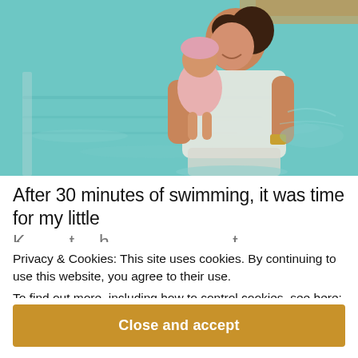[Figure (photo): A woman in a wet white top stands in a swimming pool holding a baby dressed in pink. She is smiling and looking down at the baby. The pool water is turquoise.]
After 30 minutes of swimming, it was time for my little
Privacy & Cookies: This site uses cookies. By continuing to use this website, you agree to their use.
To find out more, including how to control cookies, see here: Cookie Policy
Close and accept